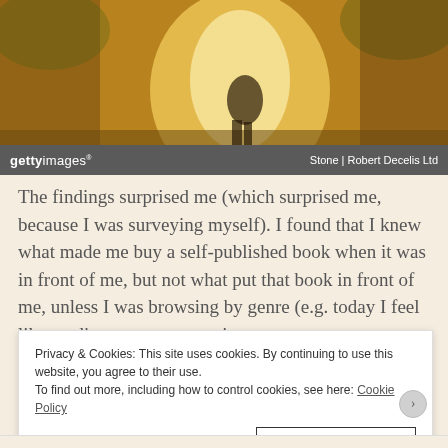[Figure (photo): Getty Images stock photo showing a couple in warm golden-toned light, silhouetted in an indoor or outdoor setting. Photo credit: Stone | Robert Decelis Ltd]
The findings surprised me (which surprised me, because I was surveying myself). I found that I knew what made me buy a self-published book when it was in front of me, but not what put that book in front of me, unless I was browsing by genre (e.g. today I feel like reading a romance set in
Privacy & Cookies: This site uses cookies. By continuing to use this website, you agree to their use.
To find out more, including how to control cookies, see here: Cookie Policy
Close and accept